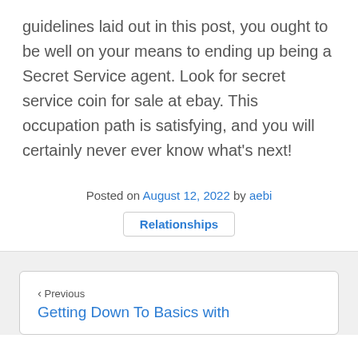guidelines laid out in this post, you ought to be well on your means to ending up being a Secret Service agent. Look for secret service coin for sale at ebay. This occupation path is satisfying, and you will certainly never ever know what's next!
Posted on August 12, 2022 by aebi
Relationships
< Previous
Getting Down To Basics with